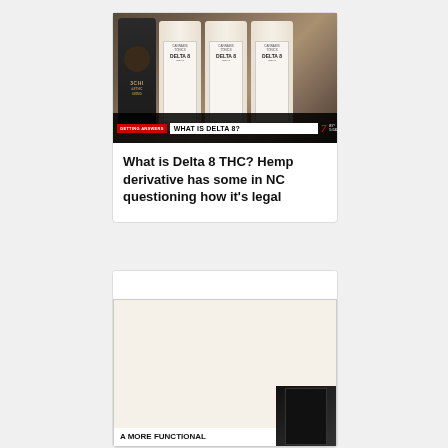[Figure (photo): TV news screenshot showing Delta 8 THC products (3CHI bottle and Cannabis Tonics Delta 8 bottles) with news chyron 'WHAT IS DELTA 8?' from local news channel 17]
What is Delta 8 THC? Hemp derivative has some in NC questioning how it's legal
[Figure (photo): Partially visible card showing 'A MORE FUNCTIONAL' text with dark product packaging image on right]